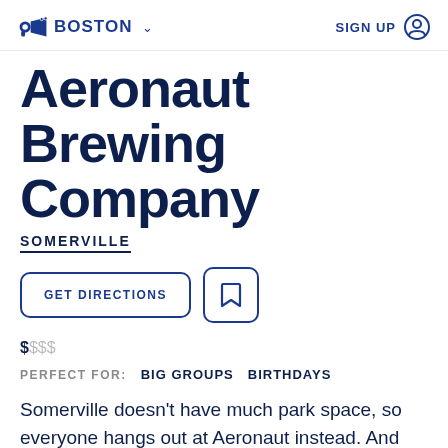BOSTON SIGN UP
Aeronaut Brewing Company
SOMERVILLE
GET DIRECTIONS
$SSS
PERFECT FOR: BIG GROUPS BIRTHDAYS
Somerville doesn't have much park space, so everyone hangs out at Aeronaut instead. And you know what? A giant warehouse where you can play